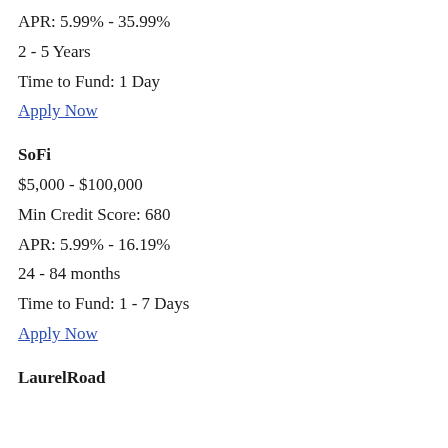APR: 5.99% - 35.99%
2 - 5 Years
Time to Fund: 1 Day
Apply Now
SoFi
$5,000 - $100,000
Min Credit Score: 680
APR: 5.99% - 16.19%
24 - 84 months
Time to Fund: 1 - 7 Days
Apply Now
LaurelRoad